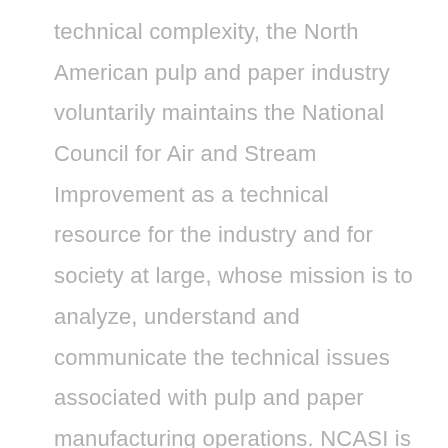technical complexity, the North American pulp and paper industry voluntarily maintains the National Council for Air and Stream Improvement as a technical resource for the industry and for society at large, whose mission is to analyze, understand and communicate the technical issues associated with pulp and paper manufacturing operations. NCASI is uniquely prepared to research and understand the technical issues associated with environmental performance of the pulp and paper manufacturing industry, and to share the results of those studies with sponsoring companies, regulatory agencies, trade associations, environmental organizations,